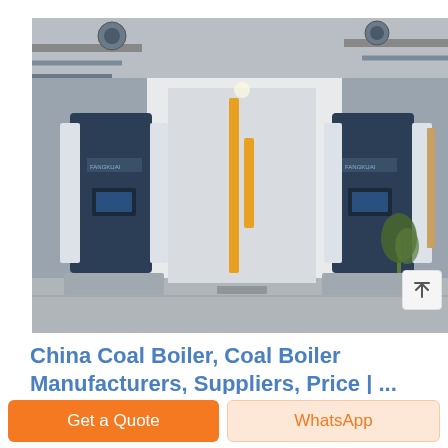[Figure (photo): Industrial boiler room with two large blue and white FANGKUAI branded boiler units installed side by side in a factory/industrial facility with concrete floor and pipes visible.]
China Coal Boiler, Coal Boiler Manufacturers, Suppliers, Price | ...
Industrial 200kg/H Ng LPG Coal Gas and Diesel Oil Fired
Get a Quote
WhatsApp